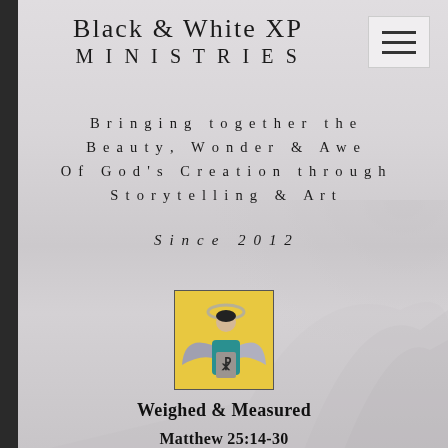Black & White XP MINISTRIES
Bringing together the Beauty, Wonder & Awe Of God's Creation through Storytelling & Art
Since 2012
[Figure (illustration): Stained glass style illustration of an angel with a halo, holding a scroll with a Chi-Rho symbol, yellow background with teal and grey wings]
Weighed & Measured
Matthew 25:14-30